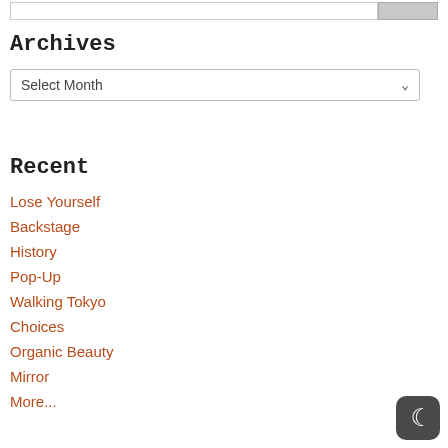Archives
Select Month
Recent
Lose Yourself
Backstage
History
Pop-Up
Walking Tokyo
Choices
Organic Beauty
Mirror
More...